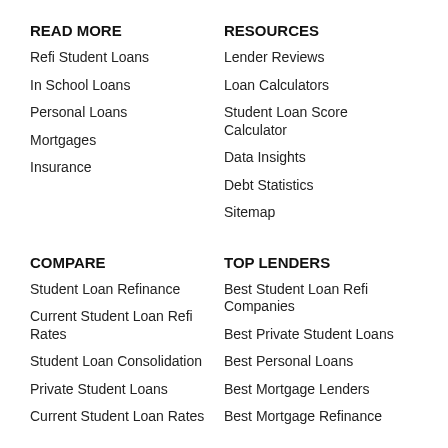READ MORE
Refi Student Loans
In School Loans
Personal Loans
Mortgages
Insurance
RESOURCES
Lender Reviews
Loan Calculators
Student Loan Score Calculator
Data Insights
Debt Statistics
Sitemap
COMPARE
Student Loan Refinance
Current Student Loan Refi Rates
Student Loan Consolidation
Private Student Loans
Current Student Loan Rates
TOP LENDERS
Best Student Loan Refi Companies
Best Private Student Loans
Best Personal Loans
Best Mortgage Lenders
Best Mortgage Refinance